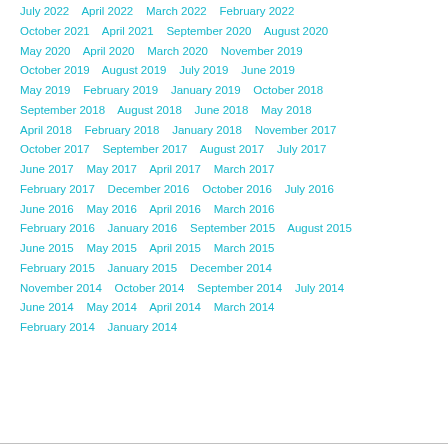July 2022    April 2022    March 2022    February 2022
October 2021    April 2021    September 2020    August 2020
May 2020    April 2020    March 2020    November 2019
October 2019    August 2019    July 2019    June 2019
May 2019    February 2019    January 2019    October 2018
September 2018    August 2018    June 2018    May 2018
April 2018    February 2018    January 2018    November 2017
October 2017    September 2017    August 2017    July 2017
June 2017    May 2017    April 2017    March 2017
February 2017    December 2016    October 2016    July 2016
June 2016    May 2016    April 2016    March 2016
February 2016    January 2016    September 2015    August 2015
June 2015    May 2015    April 2015    March 2015
February 2015    January 2015    December 2014
November 2014    October 2014    September 2014    July 2014
June 2014    May 2014    April 2014    March 2014
February 2014    January 2014